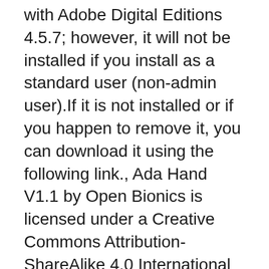Getting Started eBook is pre-installed with Adobe Digital Editions 4.5.7; however, it will not be installed if you install as a standard user (non-admin user).If it is not installed or if you happen to remove it, you can download it using the following link., Ada Hand V1.1 by Open Bionics is licensed under a Creative Commons Attribution-ShareAlike 4.0 International License. Based on a work at www.openbionics.com . almond V1.2 pcb.
FileEagle.com Free Software Downloads
PDFCreator Download. 30/09/2016B B·